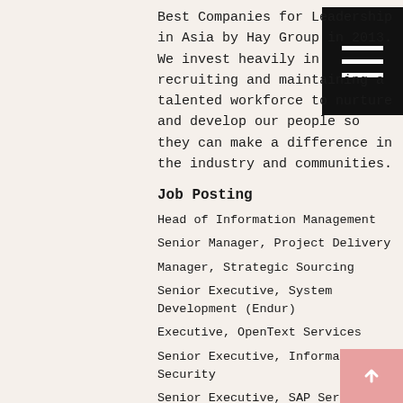Best Companies for Leadership in Asia by Hay Group in 2013. We invest heavily in recruiting and maintaining a talented workforce to nurture and develop our people so they can make a difference in the industry and communities.
Job Posting
Head of Information Management
Senior Manager, Project Delivery
Manager, Strategic Sourcing
Senior Executive, System Development (Endur)
Executive, OpenText Services
Senior Executive, Information Security
Senior Executive, SAP Services
Senior Executive, ICT Strategy & Planning
Senior Manager, ICT Group Tax & FASD
Enterprise Architect
Senior Executive, ICT Planning & Risk Management